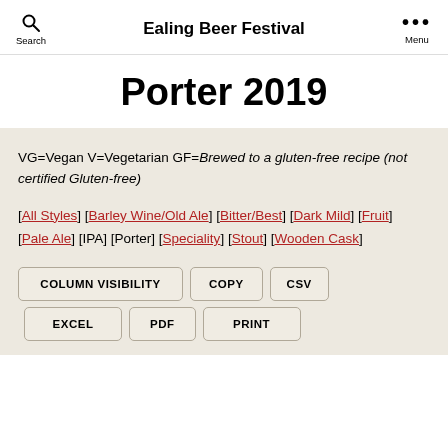Ealing Beer Festival
Porter 2019
VG=Vegan  V=Vegetarian GF=Brewed to a gluten-free recipe (not certified Gluten-free)
[All Styles] [Barley Wine/Old Ale] [Bitter/Best] [Dark Mild] [Fruit]  [Pale Ale] [IPA] [Porter] [Speciality] [Stout] [Wooden Cask]
COLUMN VISIBILITY
COPY
CSV
EXCEL
PDF
PRINT